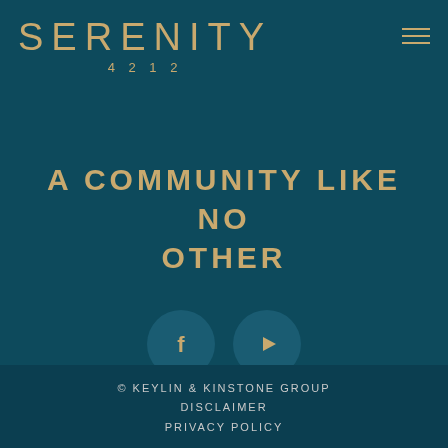[Figure (logo): Serenity 4212 logo with stylized text and number]
A COMMUNITY LIKE NO OTHER
[Figure (infographic): Social media icons: Facebook and YouTube buttons as circular buttons]
© KEYLIN & KINSTONE GROUP
DISCLAIMER
PRIVACY POLICY